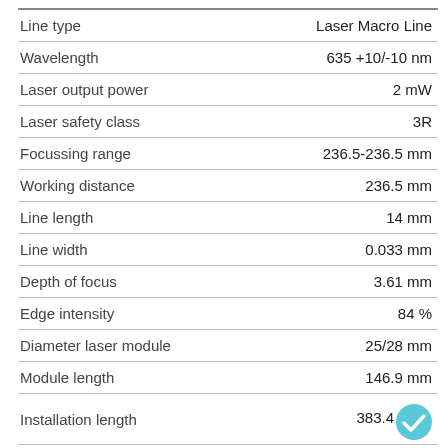| Parameter | Value |
| --- | --- |
| Line type | Laser Macro Line |
| Wavelength | 635 +10/-10 nm |
| Laser output power | 2 mW |
| Laser safety class | 3R |
| Focussing range | 236.5-236.5 mm |
| Working distance | 236.5 mm |
| Line length | 14 mm |
| Line width | 0.033 mm |
| Depth of focus | 3.61 mm |
| Edge intensity | 84 % |
| Diameter laser module | 25/28 mm |
| Module length | 146.9 mm |
| Installation length | 383.4 |
| Cable length | 1.5 m |